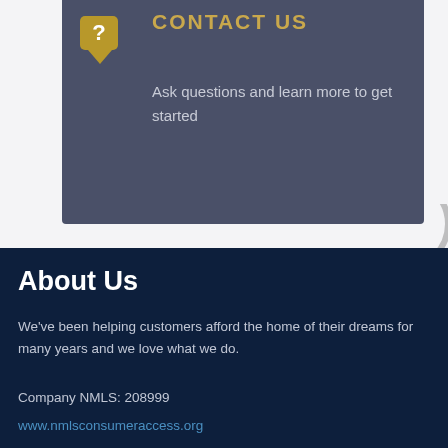CONTACT US
Ask questions and learn more to get started
About Us
We've been helping customers afford the home of their dreams for many years and we love what we do.
Company NMLS: 208999
www.nmlsconsumeraccess.org